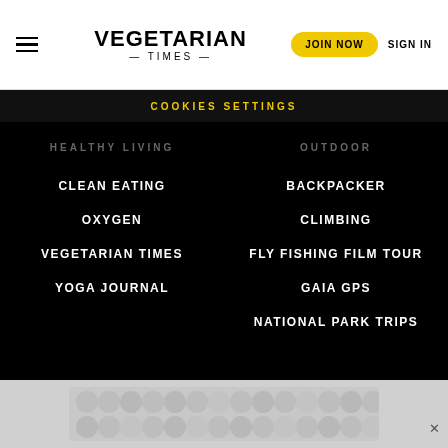VEGETARIAN TIMES — TIMES —
COOKIES SETTINGS
HEALTHY LIVING
CLEAN EATING
OXYGEN
VEGETARIAN TIMES
YOGA JOURNAL
OUTDOOR
BACKPACKER
CLIMBING
FLY FISHING FILM TOUR
GAIA GPS
NATIONAL PARK TRIPS
[Figure (other): Advertisement banner with bubble/circle pattern in gray tones]